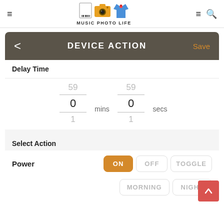MUSIC PHOTO LIFE
DEVICE ACTION
Save
Delay Time
59  0 mins  59  0 secs  1  1
Select Action
Power  ON  OFF  TOGGLE
MORNING  NIGHT